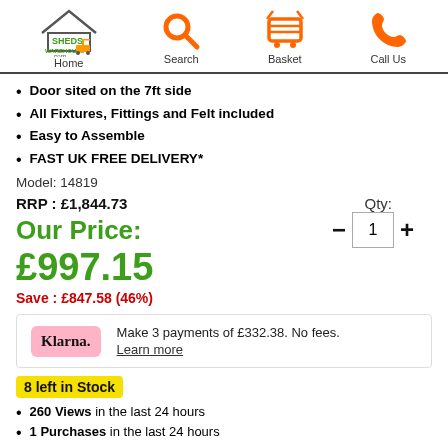Sheds Warehouse .com | Home | Search | Basket | Call Us
Door sited on the 7ft side
All Fixtures, Fittings and Felt included
Easy to Assemble
FAST UK FREE DELIVERY*
Model: 14819
RRP : £1,844.73
Qty:
Our Price:
£997.15
Save : £847.58 (46%)
Klarna. Make 3 payments of £332.38. No fees. Learn more
8 left in Stock
260 Views in the last 24 hours
1 Purchases in the last 24 hours